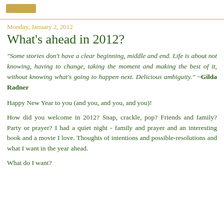Monday, January 2, 2012
What's ahead in 2012?
"Some stories don't have a clear beginning, middle and end. Life is about not knowing, having to change, taking the moment and making the best of it, without knowing what's going to happen next. Delicious ambiguity." ~Gilda Radner
Happy New Year to you (and you, and you, and you)!
How did you welcome in 2012? Snap, crackle, pop? Friends and family? Party or prayer? I had a quiet night - family and prayer and an interesting book and a movie I love. Thoughts of intentions and possible-resolutions and what I want in the year ahead.
What do I want?